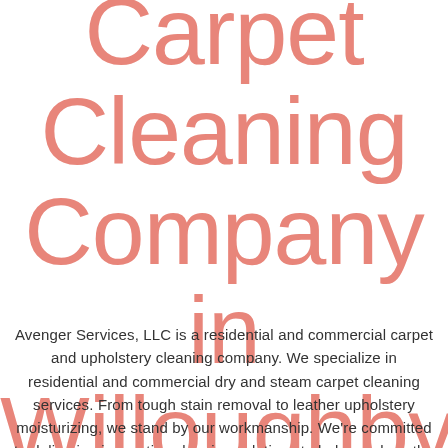Carpet Cleaning Company in Willoughby
Avenger Services, LLC is a residential and commercial carpet and upholstery cleaning company. We specialize in residential and commercial dry and steam carpet cleaning services. From tough stain removal to leather upholstery moisturizing, we stand by our workmanship. We're committed to delivering innovative cleaning solutions to help you love the space you're in.